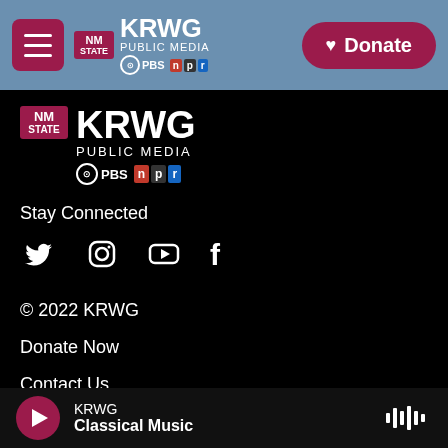KRWG PUBLIC MEDIA | PBS | NPR | Donate
[Figure (logo): KRWG Public Media logo with NM State badge, PBS and NPR logos]
Stay Connected
[Figure (infographic): Social media icons: Twitter, Instagram, YouTube, Facebook]
© 2022 KRWG
Donate Now
Contact Us
Regional
KRWG Classical Music